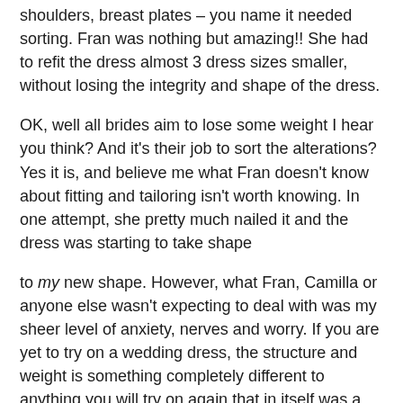shoulders, breast plates – you name it needed sorting. Fran was nothing but amazing!! She had to refit the dress almost 3 dress sizes smaller, without losing the integrity and shape of the dress.
OK, well all brides aim to lose some weight I hear you think? And it's their job to sort the alterations? Yes it is, and believe me what Fran doesn't know about fitting and tailoring isn't worth knowing. In one attempt, she pretty much nailed it and the dress was starting to take shape
to my new shape. However, what Fran, Camilla or anyone else wasn't expecting to deal with was my sheer level of anxiety, nerves and worry. If you are yet to try on a wedding dress, the structure and weight is something completely different to anything you will try on again that in itself was a trauma to me.
Even after my final fitting, I was still worrying and